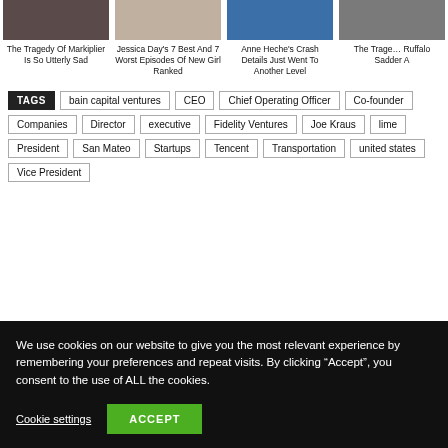[Figure (photo): Four article thumbnails showing celebrity photos with titles below]
The Tragedy Of Markiplier Is So Utterly Sad
Jessica Day's 7 Best And 7 Worst Episodes Of New Girl Ranked
Anne Heche's Crash Details Just Went To Another Level
The Tragedy Of Ruffalo Sadder A
TAGS: bain capital ventures, CEO, Chief Operating Officer, Co-founder, Companies, Director, executive, Fidelity Ventures, Joe Kraus, lime, President, San Mateo, Startups, Tencent, Transportation, united states, Vice President
We use cookies on our website to give you the most relevant experience by remembering your preferences and repeat visits. By clicking “Accept”, you consent to the use of ALL the cookies.
Cookie settings
ACCEPT